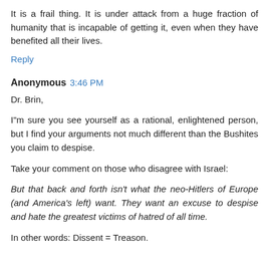It is a frail thing. It is under attack from a huge fraction of humanity that is incapable of getting it, even when they have benefited all their lives.
Reply
Anonymous 3:46 PM
Dr. Brin,
I"m sure you see yourself as a rational, enlightened person, but I find your arguments not much different than the Bushites you claim to despise.
Take your comment on those who disagree with Israel:
But that back and forth isn't what the neo-Hitlers of Europe (and America's left) want. They want an excuse to despise and hate the greatest victims of hatred of all time.
In other words: Dissent = Treason.